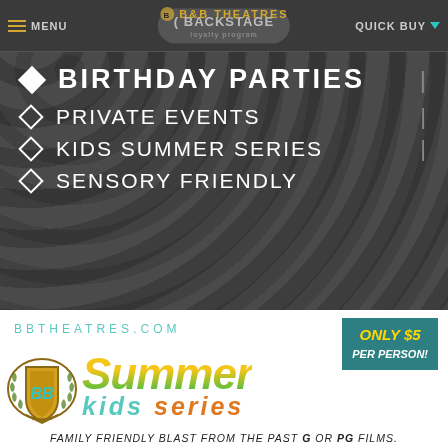B&B THEATRES
BIRTHDAY PARTIES
PRIVATE EVENTS
KIDS SUMMER SERIES
SENSORY FRIENDLY
[Figure (logo): B&B Theatres Summer Kids Series logo with shield emblem, 'Summer kids series' stylized text in yellow/green and teal/orange.]
BBTHEATRES.COM
ONLY $5 PER PERSON!
FAMILY FRIENDLY BLAST FROM THE PAST G OR PG FILMS.